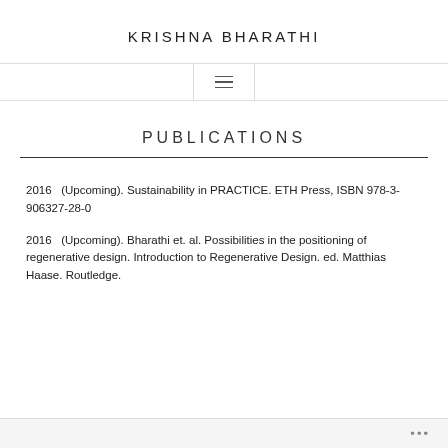KRISHNA BHARATHI
PUBLICATIONS
2016   (Upcoming). Sustainability in PRACTICE. ETH Press, ISBN 978-3-906327-28-0
2016   (Upcoming). Bharathi et. al. Possibilities in the positioning of regenerative design. Introduction to Regenerative Design. ed. Matthias Haase. Routledge.
•••